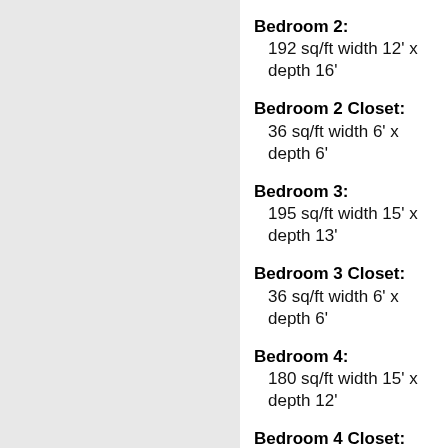Bedroom 2: 192 sq/ft width 12' x depth 16'
Bedroom 2 Closet: 36 sq/ft width 6' x depth 6'
Bedroom 3: 195 sq/ft width 15' x depth 13'
Bedroom 3 Closet: 36 sq/ft width 6' x depth 6'
Bedroom 4: 180 sq/ft width 15' x depth 12'
Bedroom 4 Closet: 36 sq/ft width 6' x depth 6'
Breakfast Room: 220 sq/ft width 11' x depth 20'